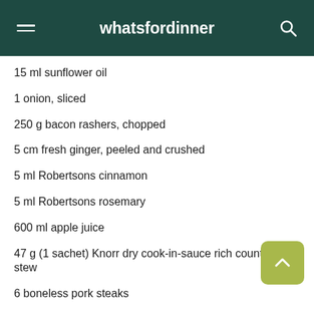whatsfordinner
15 ml sunflower oil
1 onion, sliced
250 g bacon rashers, chopped
5 cm fresh ginger, peeled and crushed
5 ml Robertsons cinnamon
5 ml Robertsons rosemary
600 ml apple juice
47 g (1 sachet) Knorr dry cook-in-sauce rich country beef stew
6 boneless pork steaks